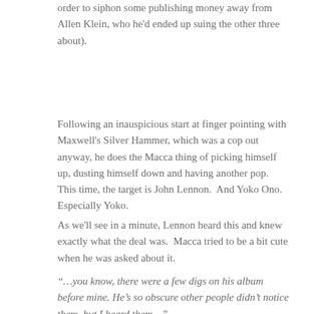order to siphon some publishing money away from Allen Klein, who he'd ended up suing the other three about).
Following an inauspicious start at finger pointing with Maxwell's Silver Hammer, which was a cop out anyway, he does the Macca thing of picking himself up, dusting himself down and having another pop.  This time, the target is John Lennon.  And Yoko Ono.  Especially Yoko.
As we'll see in a minute, Lennon heard this and knew exactly what the deal was.  Macca tried to be a bit cute when he was asked about it.
“…you know, there were a few digs on his album before mine. He’s so obscure other people didn’t notice them, but I heard them…”